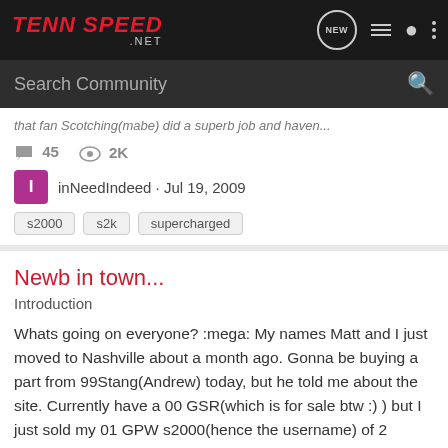TENN SPEED .NET
Search Community
that fan Scotching/mabe) did a superb job and haven...
45  2K
inNeedIndeed · Jul 19, 2009
s2000
s2k
supercharged
Newb in town...
Introduction
Whats going on everyone? :mega: My names Matt and I just moved to Nashville about a month ago. Gonna be buying a part from 99Stang(Andrew) today, but he told me about the site. Currently have a 00 GSR(which is for sale btw :) ) but I just sold my 01 GPW s2000(hence the username) of 2 years...